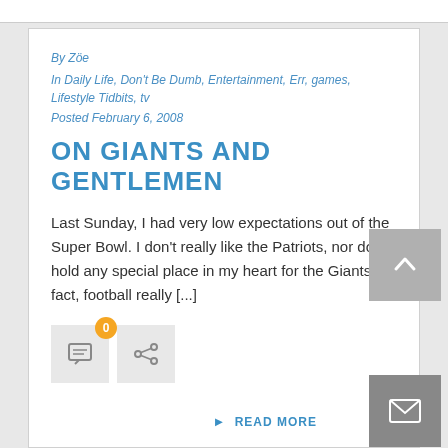By Zöe
In Daily Life, Don't Be Dumb, Entertainment, Err, games, Lifestyle Tidbits, tv
Posted February 6, 2008
ON GIANTS AND GENTLEMEN
Last Sunday, I had very low expectations out of the Super Bowl. I don't really like the Patriots, nor do I hold any special place in my heart for the Giants. In fact, football really [...]
► READ MORE